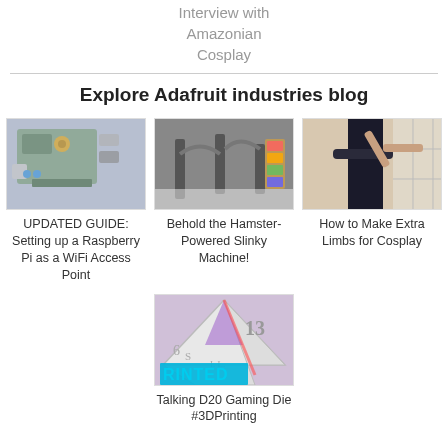Interview with Amazonian Cosplay
Explore Adafruit industries blog
[Figure (photo): Raspberry Pi circuit board in a clear case]
UPDATED GUIDE: Setting up a Raspberry Pi as a WiFi Access Point
[Figure (photo): Hamster-powered slinky machine with colorful lights]
Behold the Hamster-Powered Slinky Machine!
[Figure (photo): Person demonstrating extra limbs for cosplay]
How to Make Extra Limbs for Cosplay
[Figure (photo): 3D printed talking D20 gaming die with PRINTED text in cyan]
Talking D20 Gaming Die #3DPrinting